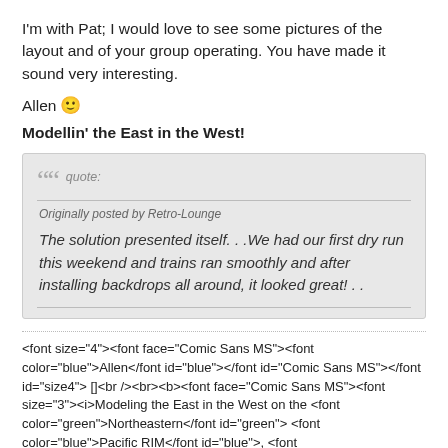I'm with Pat; I would love to see some pictures of the layout and of your group operating. You have made it sound very interesting.
Allen 🙂
Modellin' the East in the West!
quote:
Originally posted by Retro-Lounge
The solution presented itself...We had our first dry run this weekend and trains ran smoothly and after installing backdrops all around, it looked great!..
<font size="4"><font face="Comic Sans MS"><font color="blue">Allen</font id="blue"></font id="Comic Sans MS"></font id="size4"> []<br /><br><b><font face="Comic Sans MS"><font size="3"><i>Modeling the East in the West on the <font color="green">Northeastern</font id="green"> <font color="blue">Pacific RIM</font id="blue">, <font color="green">Oregon</font id="green">, that is!</i></font